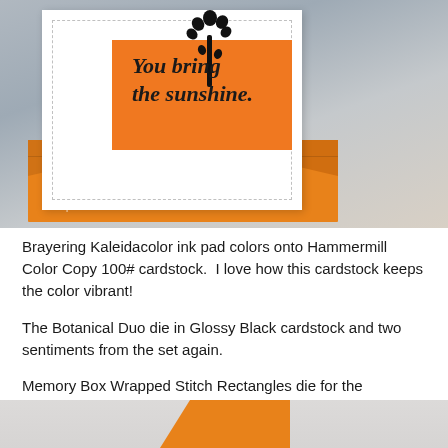[Figure (photo): A white greeting card with dashed border frame, featuring an orange rectangle panel with black silhouette botanical/tree branch art and italic text 'You bring the sunshine.' The card leans against a light gray background and rests on an orange envelope. Watermark reads 'Pam Sparks expressionswithcart.com'.]
Brayering Kaleidacolor ink pad colors onto Hammermill Color Copy 100# cardstock.  I love how this cardstock keeps the color vibrant!
The Botanical Duo die in Glossy Black cardstock and two sentiments from the set again.
Memory Box Wrapped Stitch Rectangles die for the brayered white panel.
[Figure (photo): Partial photo at bottom of page showing a light gray background with an orange corner piece visible.]